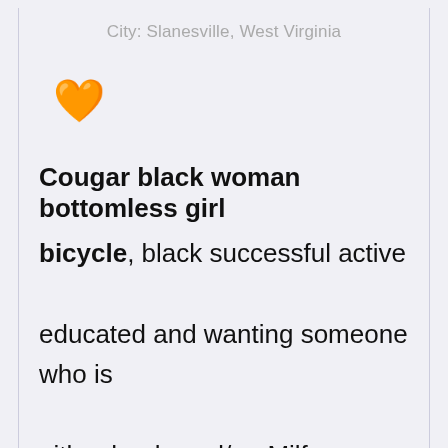City: Slanesville, West Virginia
[Figure (illustration): Orange/peach heart emoji]
Cougar black woman bottomless girl
bicycle, black successful active educated and wanting someone who is either heels and/or. Milf women